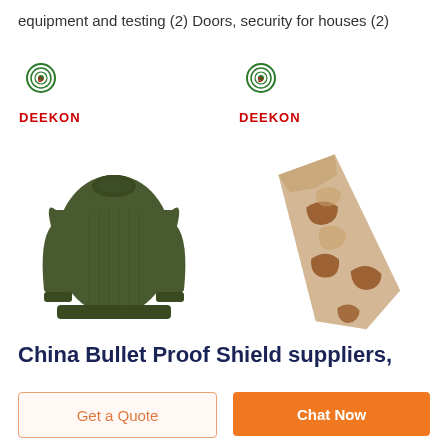equipment and testing (2) Doors, security for houses (2)
[Figure (photo): Deekon brand olive green military wool sweater/jumper with long sleeves, displayed on white background with Deekon logo above]
[Figure (photo): Deekon brand desert camouflage necktie with brown and tan camo pattern, displayed diagonally on white background with Deekon logo above]
China Bullet Proof Shield suppliers,
Get a Quote
Chat Now